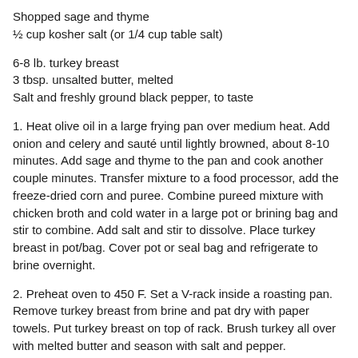Shopped sage and thyme
½ cup kosher salt (or 1/4 cup table salt)
6-8 lb. turkey breast
3 tbsp. unsalted butter, melted
Salt and freshly ground black pepper, to taste
1. Heat olive oil in a large frying pan over medium heat. Add onion and celery and sauté until lightly browned, about 8-10 minutes. Add sage and thyme to the pan and cook another couple minutes. Transfer mixture to a food processor, add the freeze-dried corn and puree. Combine pureed mixture with chicken broth and cold water in a large pot or brining bag and stir to combine. Add salt and stir to dissolve. Place turkey breast in pot/bag. Cover pot or seal bag and refrigerate to brine overnight.
2. Preheat oven to 450 F. Set a V-rack inside a roasting pan. Remove turkey breast from brine and pat dry with paper towels. Put turkey breast on top of rack. Brush turkey all over with melted butter and season with salt and pepper.